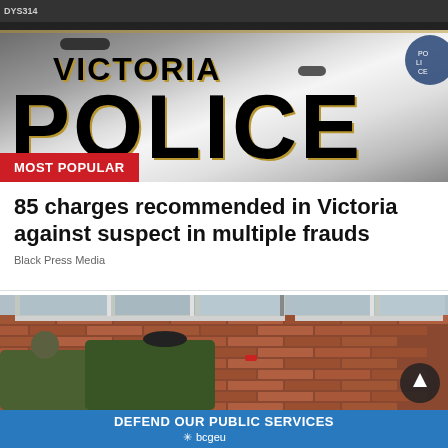[Figure (photo): Photo of a Victoria Police vehicle door showing 'VICTORIA POLICE' text in bold black letters with gold outline]
MOST POPULAR
85 charges recommended in Victoria against suspect in multiple frauds
Black Press Media
[Figure (photo): Photo of workers/people near a brick house exterior with windows]
DEFEND OUR PUBLIC SERVICES
bcgeu